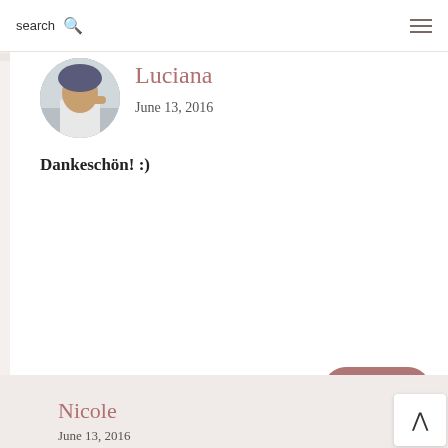search 🔍 ≡
Luciana
June 13, 2016
Dankeschön! :)
REPLY
Nicole
June 13, 2016